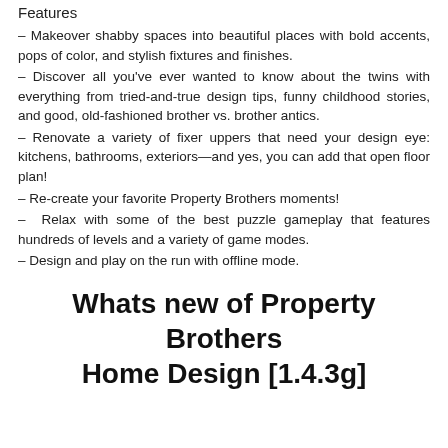Features
– Makeover shabby spaces into beautiful places with bold accents, pops of color, and stylish fixtures and finishes.
– Discover all you've ever wanted to know about the twins with everything from tried-and-true design tips, funny childhood stories, and good, old-fashioned brother vs. brother antics.
– Renovate a variety of fixer uppers that need your design eye: kitchens, bathrooms, exteriors—and yes, you can add that open floor plan!
– Re-create your favorite Property Brothers moments!
– Relax with some of the best puzzle gameplay that features hundreds of levels and a variety of game modes.
– Design and play on the run with offline mode.
Whats new of Property Brothers Home Design [1.4.3g]